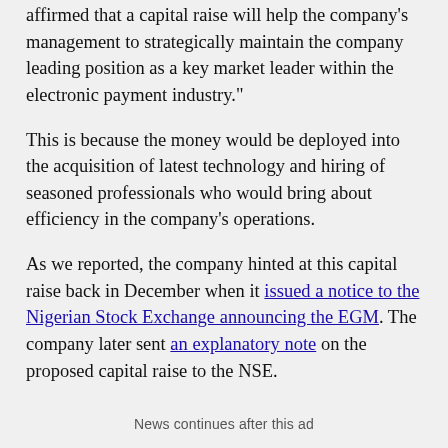affirmed that a capital raise will help the company's management to strategically maintain the company leading position as a key market leader within the electronic payment industry."
This is because the money would be deployed into the acquisition of latest technology and hiring of seasoned professionals who would bring about efficiency in the company's operations.
As we reported, the company hinted at this capital raise back in December when it issued a notice to the Nigerian Stock Exchange announcing the EGM. The company later sent an explanatory note on the proposed capital raise to the NSE.
News continues after this ad